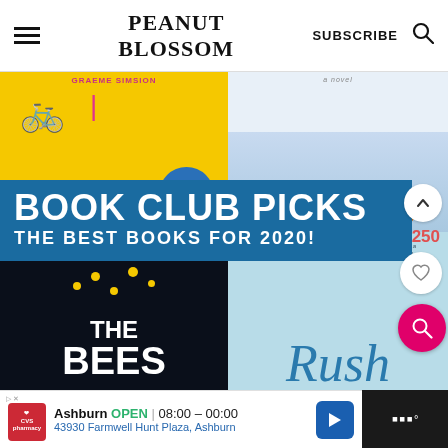PEANUT BLOSSOM | SUBSCRIBE
[Figure (screenshot): Website screenshot showing Peanut Blossom blog header with hamburger menu, site title, Subscribe link, and search icon]
[Figure (photo): Collage of book covers including The Rosie Project by Graeme Simsion (yellow cover), a novel with children raising hands, The Bees (dark cover with gold dots), and Rush by Lisa Patton (light blue cover). A blue banner overlay reads BOOK CLUB PICKS THE BEST BOOKS FOR 2020!]
BOOK CLUB PICKS
THE BEST BOOKS FOR 2020!
Ashburn OPEN | 08:00 - 00:00 43930 Farmwell Hunt Plaza, Ashburn